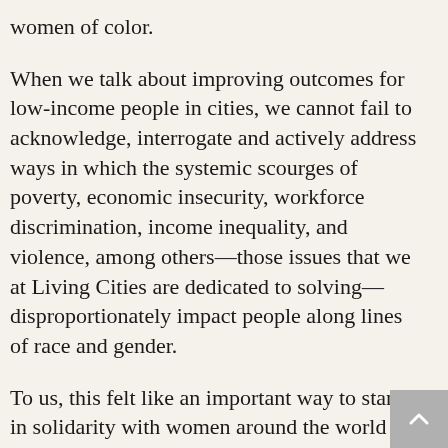women of color.
When we talk about improving outcomes for low-income people in cities, we cannot fail to acknowledge, interrogate and actively address ways in which the systemic scourges of poverty, economic insecurity, workforce discrimination, income inequality, and violence, among others—those issues that we at Living Cities are dedicated to solving—disproportionately impact people along lines of race and gender.
To us, this felt like an important way to stand in solidarity with women around the world in a mass demonstration of the vital role women play in the workforce and in society. Additionally, it is our